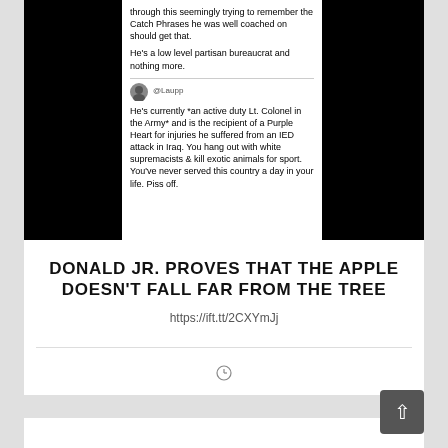[Figure (screenshot): Screenshot of social media posts on black background. Top tweet says 'through this seemingly trying to remember the Catch Phrases he was well coached on should get that. He's a low level partisan bureaucrat and nothing more.' Second tweet with @Laupp handle says 'He's currently *an active duty Lt. Colonel in the Army* and is the recipient of a Purple Heart for injuries he suffered from an IED attack in Iraq. You hang out with white supremacists & kill exotic animals for sport. You've never served this country a day in your life. Piss off.']
DONALD JR. PROVES THAT THE APPLE DOESN'T FALL FAR FROM THE TREE
https://ift.tt/2CXYmJj